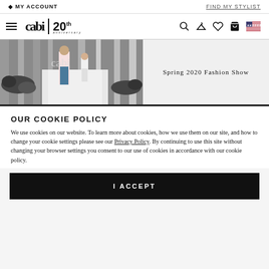MY ACCOUNT    FIND MY STYLIST
[Figure (screenshot): cabi 20th anniversary logo with navigation icons including search, hanger, heart, bag, and US flag]
[Figure (photo): Spring 2020 Fashion Show runway with model in pink blouse and jeans, audience seated on either side]
Spring 2020 Fashion Show
OUR COOKIE POLICY
We use cookies on our website. To learn more about cookies, how we use them on our site, and how to change your cookie settings please see our Privacy Policy. By continuing to use this site without changing your browser settings you consent to our use of cookies in accordance with our cookie policy.
I ACCEPT